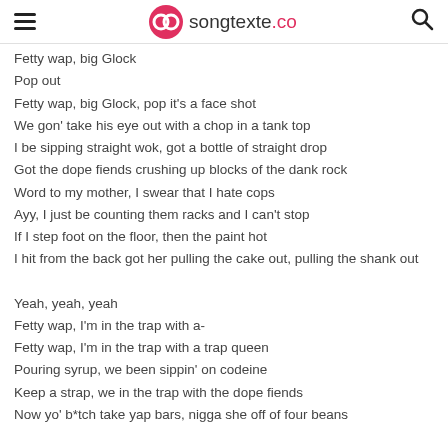songtexte.co
Fetty wap, big Glock
Pop out
Fetty wap, big Glock, pop it's a face shot
We gon' take his eye out with a chop in a tank top
I be sipping straight wok, got a bottle of straight drop
Got the dope fiends crushing up blocks of the dank rock
Word to my mother, I swear that I hate cops
Ayy, I just be counting them racks and I can't stop
If I step foot on the floor, then the paint hot
I hit from the back got her pulling the cake out, pulling the shank out
Yeah, yeah, yeah
Fetty wap, I'm in the trap with a-
Fetty wap, I'm in the trap with a trap queen
Pouring syrup, we been sippin' on codeine
Keep a strap, we in the trap with the dope fiends
Now yo' b*tch take yap bars, nigga she off of four beans